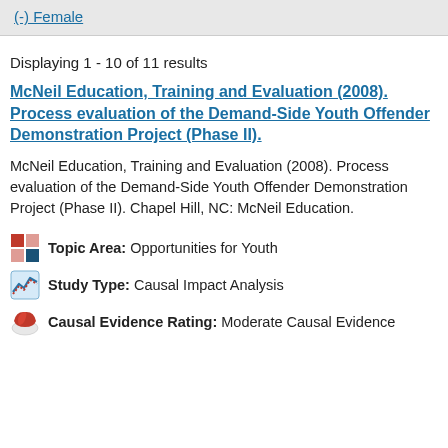(-) Female
Displaying 1 - 10 of 11 results
McNeil Education, Training and Evaluation (2008). Process evaluation of the Demand-Side Youth Offender Demonstration Project (Phase II).
McNeil Education, Training and Evaluation (2008). Process evaluation of the Demand-Side Youth Offender Demonstration Project (Phase II). Chapel Hill, NC: McNeil Education.
Topic Area: Opportunities for Youth
Study Type: Causal Impact Analysis
Causal Evidence Rating: Moderate Causal Evidence